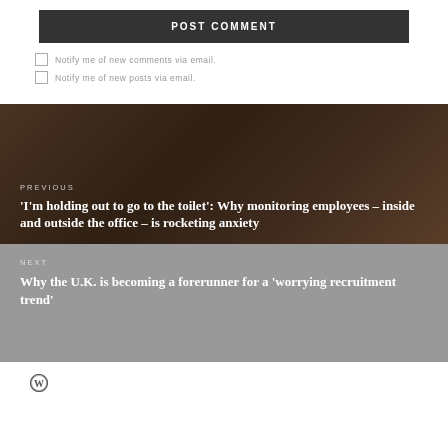POST COMMENT
Notify me of new comments via email.
Notify me of new posts via email.
PREVIOUS
'I'm holding out to go to the toilet': Why monitoring employees – inside and outside the office – is rocketing anxiety
NEXT
Why the U.K. is becoming a forerunner for a 'worrying recruitment trend'
[Figure (logo): WordPress logo circle icon]